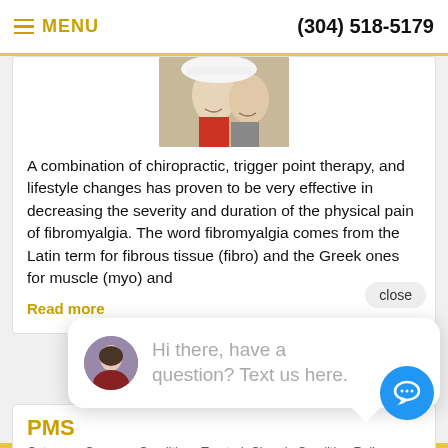MENU  (304) 518-5179
[Figure (photo): Two women smiling, one wearing a white hat, partial view from chin level]
A combination of chiropractic, trigger point therapy, and lifestyle changes has proven to be very effective in decreasing the severity and duration of the physical pain of fibromyalgia. The word fibromyalgia comes from the Latin term for fibrous tissue (fibro) and the Greek ones for muscle (myo) and
close
Read more
[Figure (photo): Chat popup with avatar of a woman. Text: Hi there, have a question? Text us here.]
PMS
Category: Common Conditions Treated, Chronic Condition Relief, Conditions Affecting Women